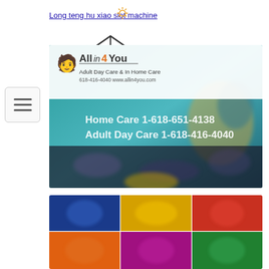Long teng hu xiao slot machine
[Figure (screenshot): Website screenshot of All In 4 You Adult Day Care & In Home Care with logo, phone numbers, and blurred background image of people]
[Figure (screenshot): Grid of colorful slot machine game thumbnails with blurred casino game images]